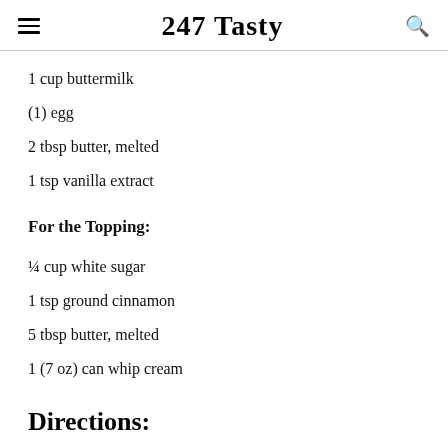247 Tasty
1 cup buttermilk
(1) egg
2 tbsp butter, melted
1 tsp vanilla extract
For the Topping:
¼ cup white sugar
1 tsp ground cinnamon
5 tbsp butter, melted
1 (7 oz) can whip cream
Directions:
1. In a bowl, add and whisk flour, brown sugar, 2 tsp of cinnamon, tartar cream, baking powder, baking soda, and salt